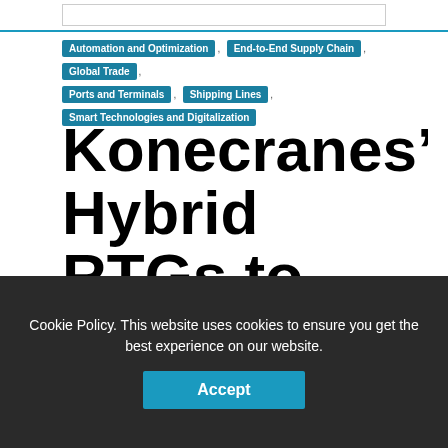[Search bar area at top]
Automation and Optimization , End-to-End Supply Chain , Global Trade , Ports and Terminals , Shipping Lines , Smart Technologies and Digitalization
Konecranes' Hybrid RTGs to Boost Port Houston
Cookie Policy. This website uses cookies to ensure you get the best experience on our website.